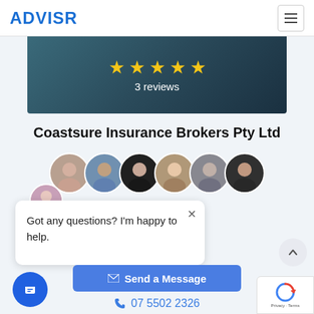ADVISR
[Figure (photo): Dark teal/blue banner with 5 gold stars and text '3 reviews']
Coastsure Insurance Brokers Pty Ltd
[Figure (photo): Row of 6 circular staff profile photos overlapping]
[Figure (photo): Chat widget with avatar, close button, and message 'Got any questions? I'm happy to help.']
⊠ Send a Message
07 5502 2326